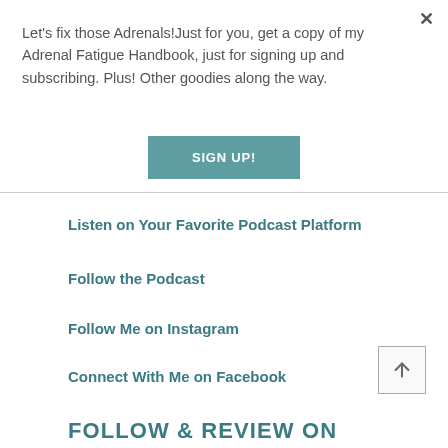Let's fix those Adrenals!Just for you, get a copy of my Adrenal Fatigue Handbook, just for signing up and subscribing. Plus! Other goodies along the way.
SIGN UP!
Listen on Your Favorite Podcast Platform
Follow the Podcast
Follow Me on Instagram
Connect With Me on Facebook
FOLLOW & REVIEW ON